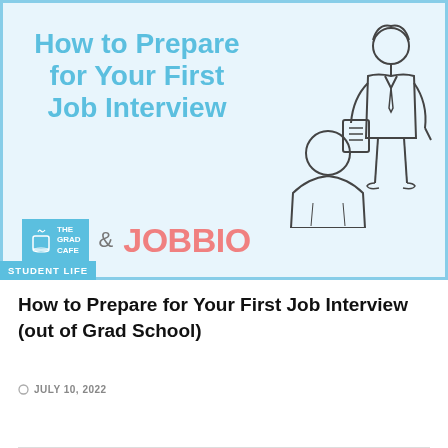[Figure (illustration): Banner image showing 'How to Prepare for Your First Job Interview' in bold blue text on a light blue background, with a line-art illustration of two people in an interview setting (interviewer and interviewee). Features The Grad Cafe and JOBBIO logos, and a 'STUDENT LIFE' badge.]
How to Prepare for Your First Job Interview (out of Grad School)
JULY 10, 2022